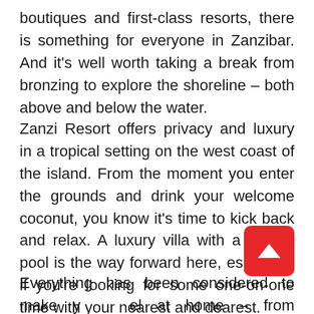boutiques and first-class resorts, there is something for everyone in Zanzibar. And it's well worth taking a break from bronzing to explore the shoreline – both above and below the water.
Zanzi Resort offers privacy and luxury in a tropical setting on the west coast of the island. From the moment you enter the grounds and drink your welcome coconut, you know it's time to kick back and relax. A luxury villa with a private pool is the way forward here, especially if you're looking for some one-on-one time with your nearest and dearest.
Everything has been considered to make you feel at home – from television with DVDs, to a mini-